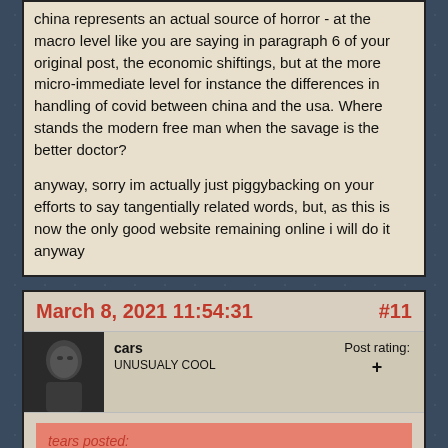china represents an actual source of horror - at the macro level like you are saying in paragraph 6 of your original post, the economic shiftings, but at the more micro-immediate level for instance the differences in handling of covid between china and the usa. Where stands the modern free man when the savage is the better doctor?

anyway, sorry im actually just piggybacking on your efforts to say tangentially related words, but, as this is now the only good website remaining online i will do it anyway
March 8, 2021 11:54:31
#11
cars
UNUSUALY COOL
Post rating:
+
tears posted:
this is now the only good website remaining online